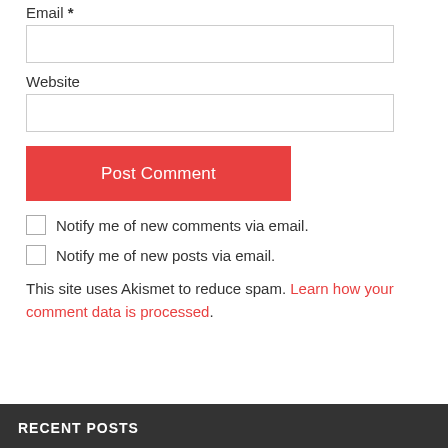Email *
Website
Post Comment
Notify me of new comments via email.
Notify me of new posts via email.
This site uses Akismet to reduce spam. Learn how your comment data is processed.
RECENT POSTS